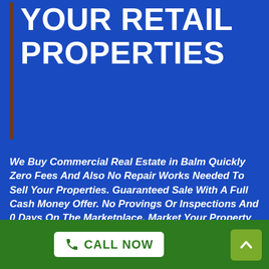YOUR RETAIL PROPERTIES
We Buy Commercial Real Estate in Balm Quickly Zero Fees And Also No Repair Works Needed To Sell Your Properties. Guaranteed Sale With A Full Cash Money Offer. No Provings Or Inspections And 0 Days On The Marketplace. Market Your Property For Cash Call Now! Market In Any Kind Of Condition. Read Our Excellent Testimonials. Obtain Money Prior To Closing.!
Compare cash money deals from
[Figure (other): Phone icon with CALL NOW button and scroll-to-top arrow button on green footer bar]